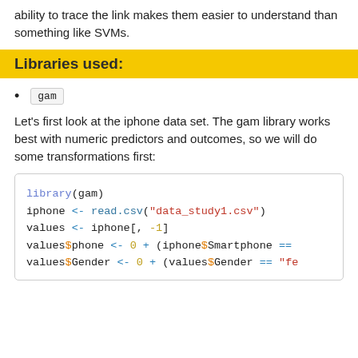ability to trace the link makes them easier to understand than something like SVMs.
Libraries used:
gam
Let’s first look at the iphone data set. The gam library works best with numeric predictors and outcomes, so we will do some transformations first:
library(gam)
iphone <- read.csv("data_study1.csv")
values <- iphone[, -1]
values$phone <- 0 + (iphone$Smartphone ==
values$Gender <- 0 + (values$Gender == "fe